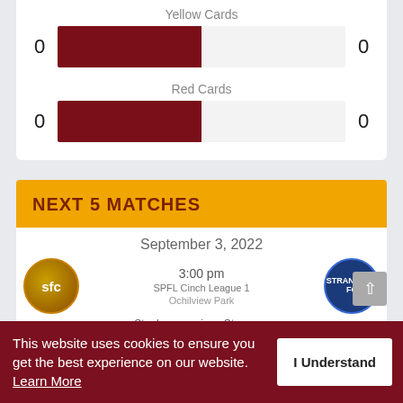[Figure (infographic): Yellow Cards stat bar: left value 0 (dark red fill ~50%), right value 0 (empty/light)]
Yellow Cards
0
0
[Figure (infographic): Red Cards stat bar: left value 0 (dark red fill ~50%), right value 0 (empty/light)]
Red Cards
0
0
NEXT 5 MATCHES
September 3, 2022
3:00 pm
SPFL Cinch League 1
Ochilview Park
Stenhousemuir vs Stranraer
This website uses cookies to ensure you get the best experience on our website. Learn More
I Understand